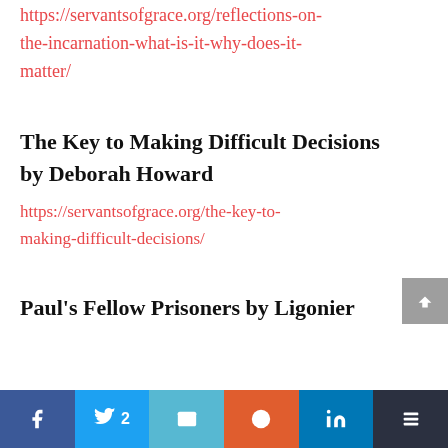https://servantsofgrace.org/reflections-on-the-incarnation-what-is-it-why-does-it-matter/
The Key to Making Difficult Decisions by Deborah Howard
https://servantsofgrace.org/the-key-to-making-difficult-decisions/
Paul's Fellow Prisoners by Ligonier